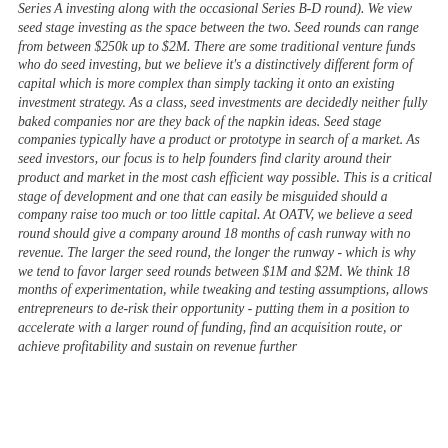Series A investing along with the occasional Series B-D round). We view seed stage investing as the space between the two. Seed rounds can range from between $250k up to $2M. There are some traditional venture funds who do seed investing, but we believe it's a distinctively different form of capital which is more complex than simply tacking it onto an existing investment strategy. As a class, seed investments are decidedly neither fully baked companies nor are they back of the napkin ideas. Seed stage companies typically have a product or prototype in search of a market. As seed investors, our focus is to help founders find clarity around their product and market in the most cash efficient way possible. This is a critical stage of development and one that can easily be misguided should a company raise too much or too little capital. At OATV, we believe a seed round should give a company around 18 months of cash runway with no revenue. The larger the seed round, the longer the runway - which is why we tend to favor larger seed rounds between $1M and $2M. We think 18 months of experimentation, while tweaking and testing assumptions, allows entrepreneurs to de-risk their opportunity - putting them in a position to accelerate with a larger round of funding, find an acquisition route, or achieve profitability and sustain on revenue further